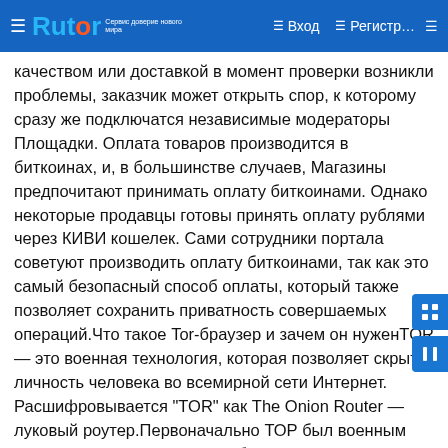Rutor — Вход — Регистр…
качеством или доставкой в момент проверки возникли проблемы, заказчик может открыть спор, к которому сразу же подключатся независимые модераторы Площадки. Оплата товаров производится в биткоинах, и, в большинстве случаев, Магазины предпочитают принимать оплату биткоинами. Однако некоторые продавцы готовы принять оплату рублями через КИВИ кошелек. Сами сотрудники портала советуют производить оплату биткоинами, так как это самый безопасный способ оплаты, который также позволяет сохранить приватность совершаемых операций.Что такое Tor-браузер и зачем он нуженTOR — это военная технология, которая позволяет скрыть личность человека во всемирной сети Интернет. Расшифровывается "TOR" как The Onion Router — луковый роутер.Первоначально ТОР был военным проектом Америки, но очень быстро его представили для спонсоров, и с тех пор он именуется Tor Project. Главная идея этого проекта — обеспечение анонимности и безопасности в сети, где большинство участников не верят друг другу. Смысл этой сети в том, что трафик следует через несколько